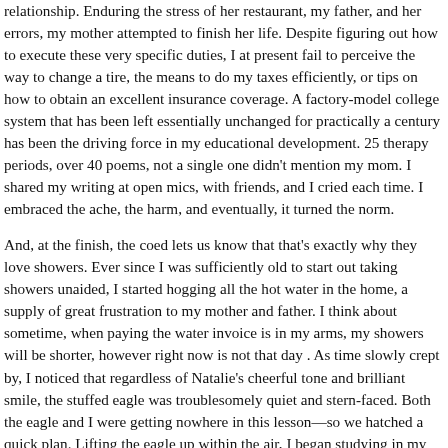relationship. Enduring the stress of her restaurant, my father, and her errors, my mother attempted to finish her life. Despite figuring out how to execute these very specific duties, I at present fail to perceive the way to change a tire, the means to do my taxes efficiently, or tips on how to obtain an excellent insurance coverage. A factory-model college system that has been left essentially unchanged for practically a century has been the driving force in my educational development. 25 therapy periods, over 40 poems, not a single one didn't mention my mom. I shared my writing at open mics, with friends, and I cried each time. I embraced the ache, the harm, and eventually, it turned the norm.
And, at the finish, the coed lets us know that that's exactly why they love showers. Ever since I was sufficiently old to start out taking showers unaided, I started hogging all the hot water in the home, a supply of great frustration to my mother and father. I think about sometime, when paying the water invoice is in my arms, my showers will be shorter, however right now is not that day . As time slowly crept by, I noticed that regardless of Natalie's cheerful tone and brilliant smile, the stuffed eagle was troublesomely quiet and stern-faced. Both the eagle and I were getting nowhere in this lesson—so we hatched a quick plan. Lifting the eagle up within the air, I began studying in my finest impersonation of an eagle, squawking my method via a spelling packet. The outcome offered a way of prompt